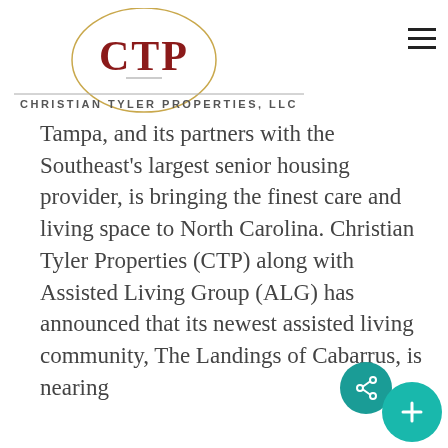[Figure (logo): Christian Tyler Properties, LLC logo with CTP letters in a circle and full company name below]
Tampa, and its partners with the Southeast's largest senior housing provider, is bringing the finest care and living space to North Carolina. Christian Tyler Properties (CTP) along with Assisted Living Group (ALG) has announced that its newest assisted living community, The Landings of Cabarrus, is nearing